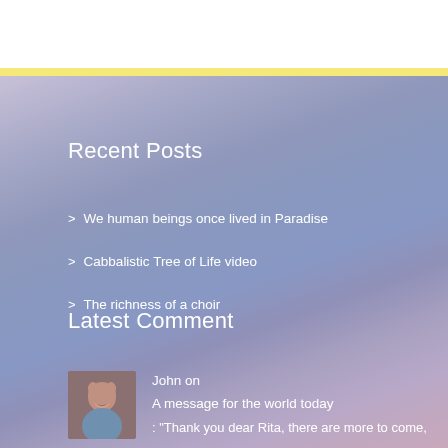Recent Posts
We human beings once lived in Paradise
Cabbalistic Tree of Life video
The richness of a choir
Latest Comment
John on
A message for the world today
: "Thank you dear Rita, there are more to come,